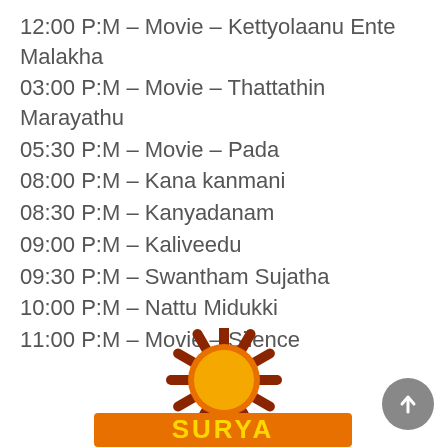12:00 P:M – Movie – Kettyolaanu Ente Malakha
03:00 P:M – Movie – Thattathin Marayathu
05:30 P:M – Movie – Pada
08:00 P:M – Kana kanmani
08:30 P:M – Kanyadanam
09:00 P:M – Kaliveedu
09:30 P:M – Swantham Sujatha
10:00 P:M – Nattu Midukki
11:00 P:M – Movie – Silence
[Figure (logo): Surya TV logo — a stylized sun with orange/brown rays above the yellow 'SURYA' text on an orange background]